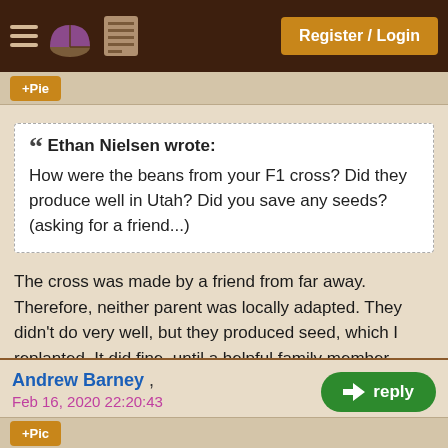Register / Login
+Pie
" Ethan Nielsen wrote:
How were the beans from your F1 cross? Did they produce well in Utah? Did you save any seeds? (asking for a friend...)
The cross was made by a friend from far away. Therefore, neither parent was locally adapted. They didn't do very well, but they produced seed, which I replanted. It did fine, until a helpful family member chopped them out. I only planted half my seed, so I may try again .
Andrew Barney , Feb 16, 2020 22:20:43
+Pic